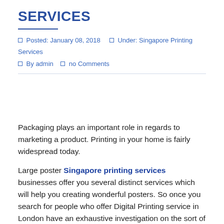SERVICES
Posted: January 08, 2018   Under: Singapore Printing Services   By admin   no Comments
Packaging plays an important role in regards to marketing a product. Printing in your home is fairly widespread today.
Large poster Singapore printing services businesses offer you several distinct services which will help you creating wonderful posters. So once you search for people who offer Digital Printing service in London have an exhaustive investigation on the sort of printer they use. In the internet printing business, large format printing services are in excellent demand because of the simple fact that high excellent printing is